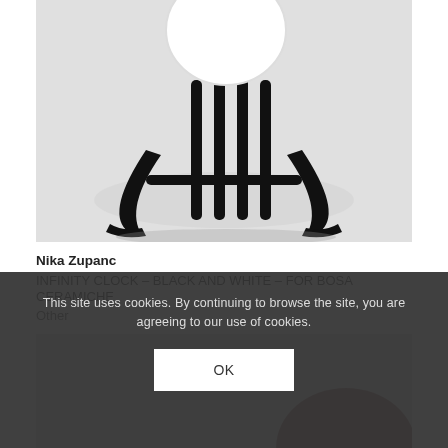[Figure (photo): Close-up photograph of a black ceramic rocking horse clock (Infinity Clock) by Nika Zupanc for Bosa Ceramiche. The object has glossy black curved rocker base legs and spindle supports, with a white circular face visible at top. Background is light grey.]
Nika Zupanc
INFINITY CLOCK – BLACK AND WHITE – FOR BOSA CERAMICHE
Other
[Figure (photo): Partial view of a second product image, mostly showing a light grey/white background with hints of a dark circular form at the bottom right.]
This site uses cookies. By continuing to browse the site, you are agreeing to our use of cookies.